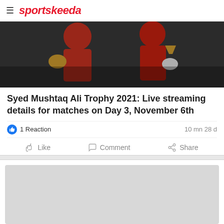sportskeeda
[Figure (photo): Two boxers in red uniforms sparring, one wearing gold gloves]
Syed Mushtaq Ali Trophy 2021: Live streaming details for matches on Day 3, November 6th
1 Reaction   10 mn 28 d
Like   Comment   Share
[Figure (other): Gray advertisement placeholder box]
[Figure (other): Ad banner: Try All 6 Weekly Flavors - Crumbl Cookies - Ashburn]